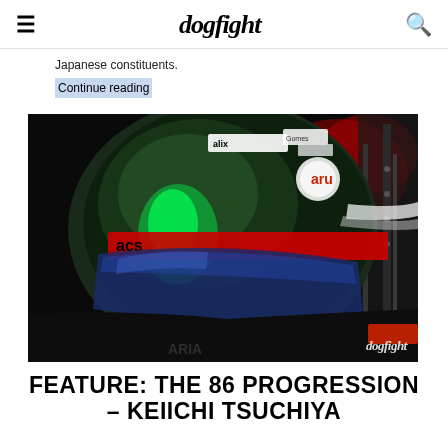dogfight
Japanese constituents.
Continue reading
[Figure (photo): Close-up photo of a racing driver wearing a green helmet with various sponsor stickers including 'alix', 'Gomes', 'acs'. The helmet visor is blue-tinted. The background is dark with red elements visible. The dogfight watermark is in the bottom right corner.]
FEATURE: THE 86 PROGRESSION – KEIICHI TSUCHIYA